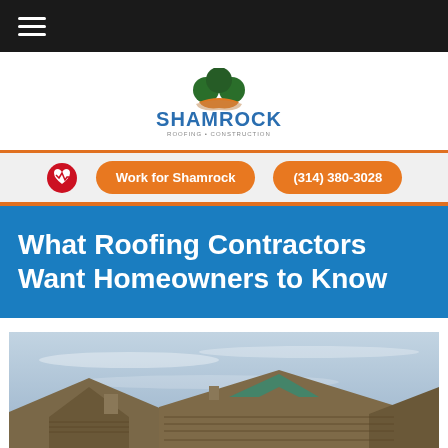Navigation bar with hamburger menu
[Figure (logo): Shamrock Roofing logo with green shamrock/clover icon above stylized text reading SHAMROCK with roofing and construction tagline]
Work for Shamrock   (314) 380-3028
What Roofing Contractors Want Homeowners to Know
[Figure (photo): Photo of residential rooftops against a cloudy blue-grey sky, showing shingle roofs with construction or repair work in progress]